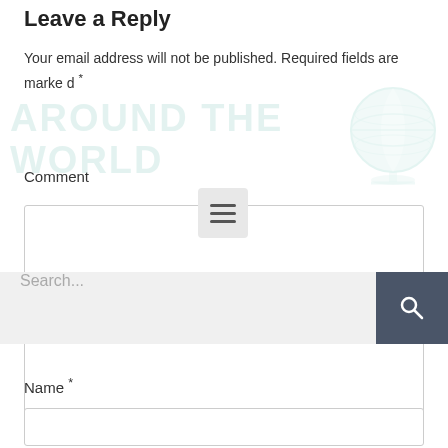Leave a Reply
Your email address will not be published. Required fields are marked *
Comment
[Figure (screenshot): Comment textarea input box with resize handle]
[Figure (screenshot): Search bar overlay with text input placeholder 'Search...' and dark search button with magnifying glass icon]
Name *
[Figure (screenshot): Name text input box]